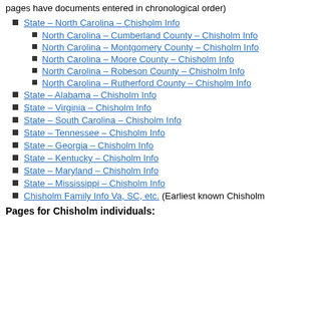pages have documents entered in chronological order)
State – North Carolina – Chisholm Info
North Carolina – Cumberland County – Chisholm Info
North Carolina – Montgomery County – Chisholm Info
North Carolina – Moore County – Chisholm Info
North Carolina – Robeson County – Chisholm Info
North Carolina – Rutherford County – Chisholm Info
State – Alabama – Chisholm Info
State – Virginia – Chisholm Info
State – South Carolina – Chisholm Info
State – Tennessee – Chisholm Info
State – Georgia – Chisholm Info
State – Kentucky – Chisholm Info
State – Maryland – Chisholm Info
State – Mississippi – Chisholm Info
Chisholm Family Info Va, SC, etc. (Earliest known Chisholm...
Pages for Chisholm individuals: